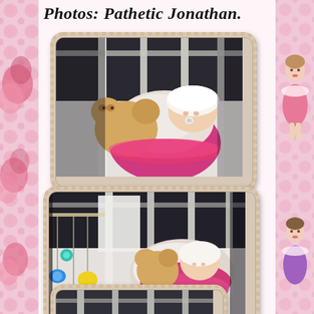Photos: Pathetic Jonathan.
[Figure (photo): Baby dressed in white and pink satin outfit with white lace bonnet, lying in a white crib holding a stuffed animal teddy bear, sleeping or resting with eyes closed, close-up view]
[Figure (photo): Wider view of baby in white crib dressed in white and pink satin outfit, with colorful hanging crib toys visible on the left side (green, blue, yellow toys), baby holding stuffed animal]
[Figure (photo): Partial view of third photo showing another image of the baby, partially cut off at bottom of page]